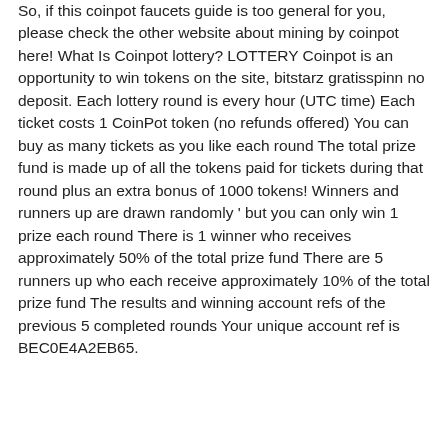So, if this coinpot faucets guide is too general for you, please check the other website about mining by coinpot here! What Is Coinpot lottery? LOTTERY Coinpot is an opportunity to win tokens on the site, bitstarz gratisspinn no deposit. Each lottery round is every hour (UTC time) Each ticket costs 1 CoinPot token (no refunds offered) You can buy as many tickets as you like each round The total prize fund is made up of all the tokens paid for tickets during that round plus an extra bonus of 1000 tokens! Winners and runners up are drawn randomly ' but you can only win 1 prize each round There is 1 winner who receives approximately 50% of the total prize fund There are 5 runners up who each receive approximately 10% of the total prize fund The results and winning account refs of the previous 5 completed rounds Your unique account ref is BEC0E4A2EB65.